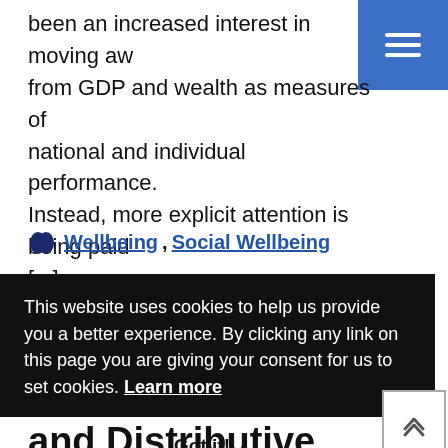been an increased interest in moving away from GDP and wealth as measures of national and individual performance. Instead, more explicit attention is being paid [...]
Wellbeing, Social Wellbeing
This website uses cookies to help us provide you a better experience. By clicking any link on this page you are giving your consent for us to set cookies. Learn more
Got it!
and Distributive